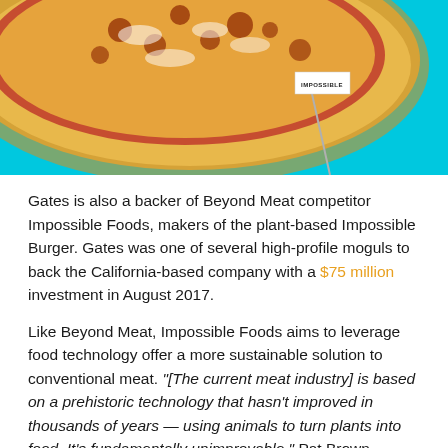[Figure (photo): Photo of a pizza on a cyan/turquoise background with an 'Impossible' branded flag pick stuck into it.]
Gates is also a backer of Beyond Meat competitor Impossible Foods, makers of the plant-based Impossible Burger. Gates was one of several high-profile moguls to back the California-based company with a $75 million investment in August 2017.
Like Beyond Meat, Impossible Foods aims to leverage food technology offer a more sustainable solution to conventional meat. "[The current meat industry] is based on a prehistoric technology that hasn't improved in thousands of years — using animals to turn plants into food. It's fundamentally unimprovable," Pat Brown, Impossible Foods CEO,